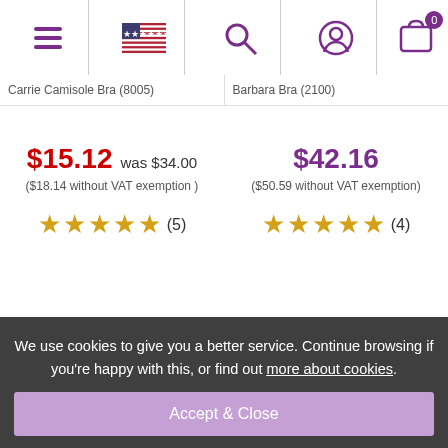Navigation bar with menu, US flag, search, user account, and cart (0 items)
Carrie Camisole Bra (8005)
Barbara Bra (2100)
$15.12 was $34.00
($18.14 without VAT exemption )
★★★★★ (5)
$42.16
($50.59 without VAT exemption)
★★★★★ (4)
Customer Reviews  Overall product rating 5 / 5 ★★★★★
Write A Product Review
We use cookies to give you a better service. Continue browsing if you're happy with this, or find out more about cookies.
Accept & Close